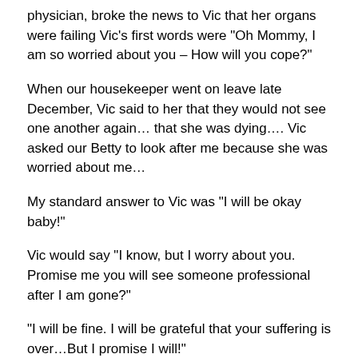physician, broke the news to Vic that her organs were failing Vic's first words were “Oh Mommy, I am so worried about you – How will you cope?”
When our housekeeper went on leave late December, Vic said to her that they would not see one another again… that she was dying…. Vic asked our Betty to look after me because she was worried about me…
My standard answer to Vic was “I will be okay baby!”
Vic would say “I know, but I worry about you.  Promise me you will see someone professional after I am gone?”
“I will be fine.  I will be grateful that your suffering is over…But I promise I will!”
I did not know what I was talking about when I said I would be fine… Vic knew me better than I know myself.